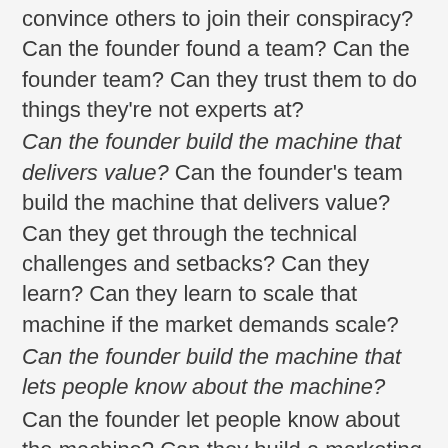convince others to join their conspiracy? Can the founder found a team? Can the founder team? Can they trust them to do things they're not experts at?
Can the founder build the machine that delivers value? Can the founder's team build the machine that delivers value? Can they get through the technical challenges and setbacks? Can they learn? Can they learn to scale that machine if the market demands scale?
Can the founder build the machine that lets people know about the machine?
Can the founder let people know about the machine? Can they build a marketing team? Can they trust the marketing team? Can they build a sales team if they need to? Can they convince somebody to build them a sales team if they need to? Can they set up a disciplined deal desk? Can they found a team? Can they team?
Can the...